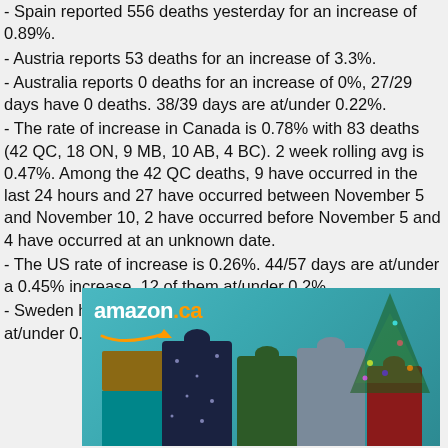- Spain reported 556 deaths yesterday for an increase of 0.89%.
- Austria reports 53 deaths for an increase of 3.3%.
- Australia reports 0 deaths for an increase of 0%, 27/29 days have 0 deaths. 38/39 days are at/under 0.22%.
- The rate of increase in Canada is 0.78% with 83 deaths (42 QC, 18 ON, 9 MB, 10 AB, 4 BC). 2 week rolling avg is 0.47%. Among the 42 QC deaths, 9 have occurred in the last 24 hours and 27 have occurred between November 5 and November 10, 2 have occurred before November 5 and 4 have occurred at an unknown date.
- The US rate of increase is 0.26%. 44/57 days are at/under a 0.45% increase, 12 of them at/under 0.2%.
- Sweden has 103/112 days are at/under 0.15%, all but 1 at/under 0.25%
[Figure (photo): Amazon.ca advertisement banner showing gift bags and Christmas presents with holiday decorations]